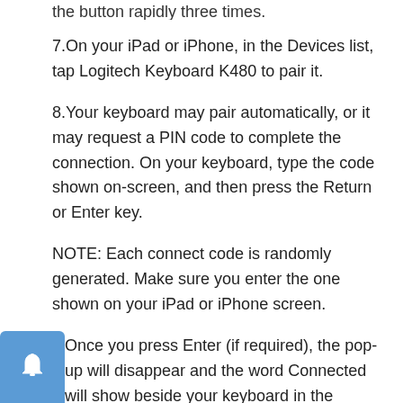the button rapidly three times.
7. On your iPad or iPhone, in the Devices list, tap Logitech Keyboard K480 to pair it.
8. Your keyboard may pair automatically, or it may request a PIN code to complete the connection. On your keyboard, type the code shown on-screen, and then press the Return or Enter key.
NOTE: Each connect code is randomly generated. Make sure you enter the one shown on your iPad or iPhone screen.
Once you press Enter (if required), the pop-up will disappear and the word Connected will show beside your keyboard in the Devices list.